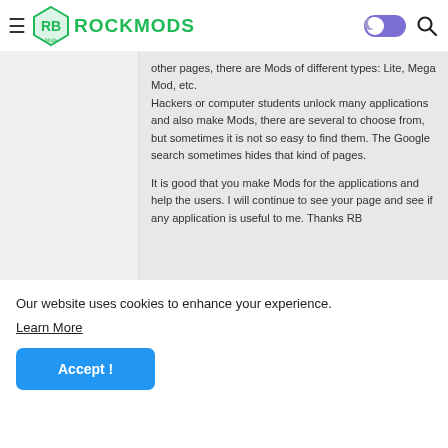ROCKMODS
other pages, there are Mods of different types: Lite, Mega Mod, etc. Hackers or computer students unlock many applications and also make Mods, there are several to choose from, but sometimes it is not so easy to find them. The Google search sometimes hides that kind of pages.

It is good that you make Mods for the applications and help the users. I will continue to see your page and see if any application is useful to me. Thanks RB
Our website uses cookies to enhance your experience. Learn More
Accept !